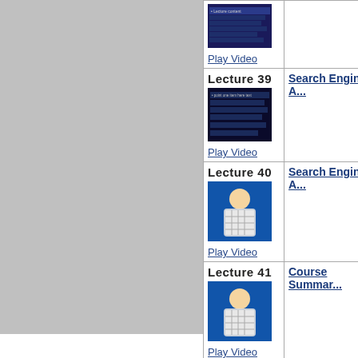| Lecture | Title |
| --- | --- |
| Lecture 39
[thumbnail]
Play Video | Search Engine A... |
| Lecture 40
[thumbnail]
Play Video | Search Engine A... |
| Lecture 41
[thumbnail]
Play Video | Course Summar... |